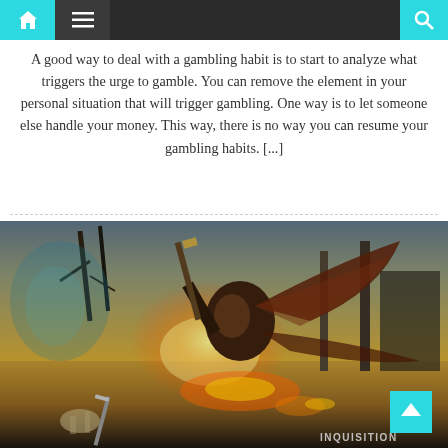Navigation bar with home, menu, and search icons
A good way to deal with a gambling habit is to start to analyze what triggers the urge to gamble. You can remove the element in your personal situation that will trigger gambling. One way is to let someone else handle your money. This way, there is no way you can resume your gambling habits. [...]
[Figure (screenshot): Screenshot of a fantasy action video game (Dragon Age: Inquisition) showing an armored creature with wings wielding a weapon in a battle scene with fire, ruins, and dead trees in the background. An 'INQUISITION' watermark is visible in the bottom-right corner.]